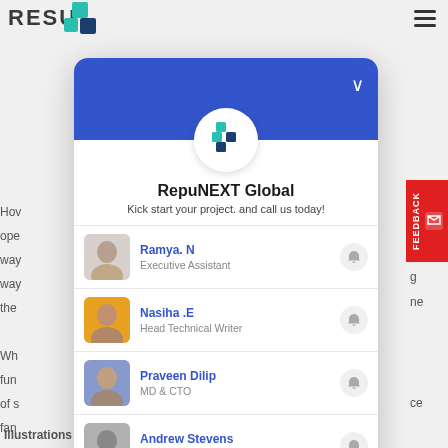[Figure (screenshot): A chat/contact popup widget for RepuNEXT Global showing company logo, tagline 'Kick start your project. and call us today!', and four contact persons: Ramya N (Executive Assistant), Nasiha E (Head Technical Writer), Praveen Dilip (MD & CTO), Andrew Stevens (Sales Director). The popup has a blue header and is overlaid on a webpage with partial background text visible.]
Illustrations used in the Web is inseparably associated with